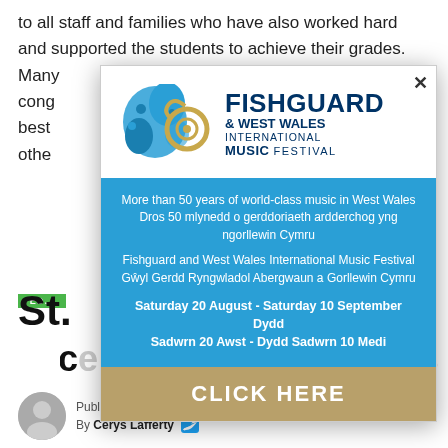to all staff and families who have also worked hard and supported the students to achieve their grades. Many cong… e best… nto othe…
[Figure (advertisement): Fishguard & West Wales International Music Festival popup advertisement with logo (blue wave/floral design and golden French horn), blue info section with bilingual English/Welsh text, and gold 'CLICK HERE' button. Modal has an X close button at top right.]
ED…
St. … excellent A-Level results
Published 2 weeks ago on August 18, 2022
By Cerys Lafferty